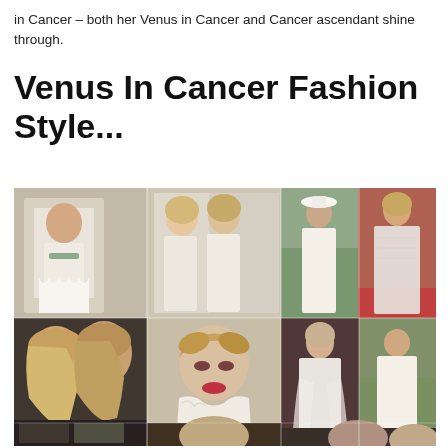in Cancer – both her Venus in Cancer and Cancer ascendant shine through.
Venus In Cancer Fashion Style...
[Figure (photo): Collage of multiple photos of women in white and light-colored flowing, vintage, and bohemian fashion styles, representing Venus in Cancer aesthetic. Includes multiple celebrity photos arranged in a grid collage.]